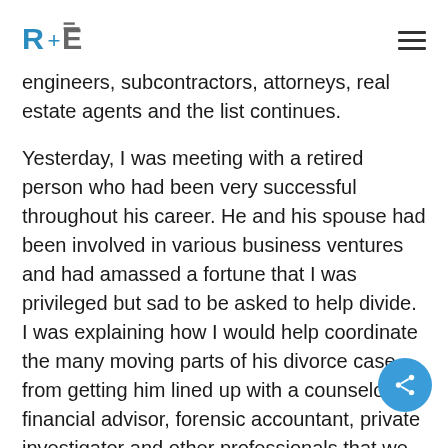R+E logo and hamburger menu
engineers, subcontractors, attorneys, real estate agents and the list continues.
Yesterday, I was meeting with a retired person who had been very successful throughout his career. He and his spouse had been involved in various business ventures and had amassed a fortune that I was privileged but sad to be asked to help divide. I was explaining how I would help coordinate the many moving parts of his divorce case, from getting him lined up with a counselor, financial advisor, forensic accountant, private investigator and other professionals that we may need to consult while working through his situation. I described my role as somewhat of a “general contractor.” He responded